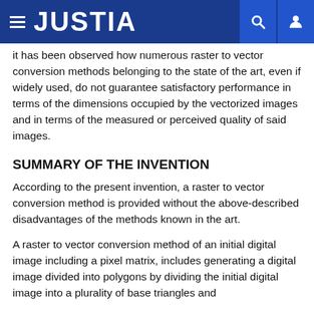JUSTIA
It has been observed how numerous raster to vector conversion methods belonging to the state of the art, even if widely used, do not guarantee satisfactory performance in terms of the dimensions occupied by the vectorized images and in terms of the measured or perceived quality of said images.
SUMMARY OF THE INVENTION
According to the present invention, a raster to vector conversion method is provided without the above-described disadvantages of the methods known in the art.
A raster to vector conversion method of an initial digital image including a pixel matrix, includes generating a digital image divided into polygons by dividing the initial digital image into a plurality of base triangles and